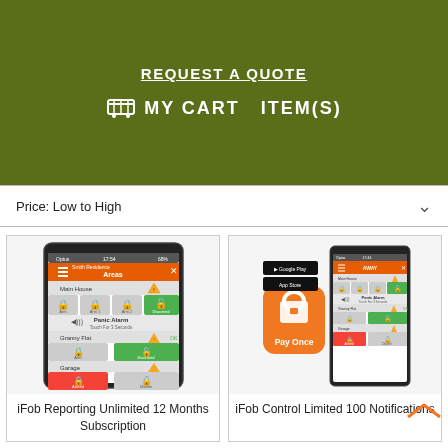REQUEST A QUOTE
MY CART  ITEM(S)
Price: Low to High
[Figure (screenshot): Mobile app screenshot showing iFob Areas screen with Main House, Granny Flat, Garage zones and arm/disarm controls]
iFob Reporting Unlimited 12 Months Subscription
[Figure (screenshot): Mobile app screenshot with Pay Once badge, Google Play and App Store icons, and iFob Control app interface]
iFob Control Limited 100 Notifications